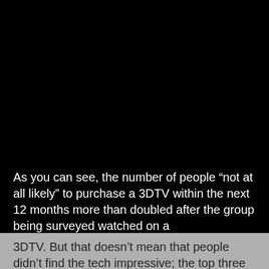[Figure (other): Large black background area occupying the upper portion of the page, likely a video or image frame area.]
As you can see, the number of people “not at all likely” to purchase a 3DTV within the next 12 months more than doubled after the group being surveyed watched on a
3DTV. But that doesn’t mean that people didn’t find the tech impressive; the top three concerns about 3DTVs